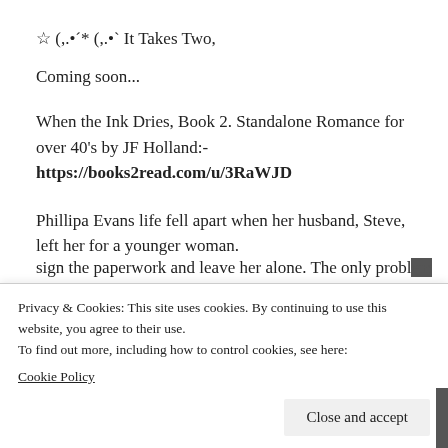☆ (,.•´* (,.•` It Takes Two,
Coming soon...
When the Ink Dries, Book 2. Standalone Romance for over 40's by JF Holland:- https://books2read.com/u/3RaWJD
Phillipa Evans life fell apart when her husband, Steve, left her for a younger woman.
18-months on, she is not only over him but wants a
sign the paperwork and leave her alone. The only problem
Privacy & Cookies: This site uses cookies. By continuing to use this website, you agree to their use.
To find out more, including how to control cookies, see here:
Cookie Policy
Close and accept